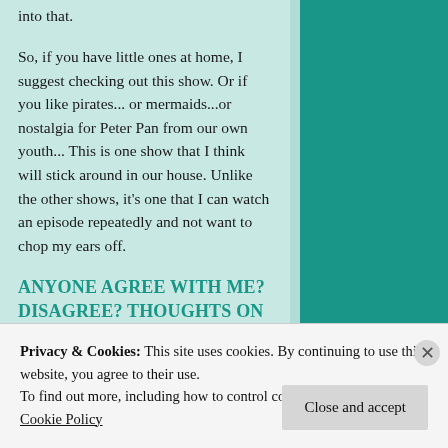into that.
So, if you have little ones at home, I suggest checking out this show. Or if you like pirates... or mermaids...or nostalgia for Peter Pan from our own youth... This is one show that I think will stick around in our house. Unlike the other shows, it’s one that I can watch an episode repeatedly and not want to chop my ears off.
ANYONE AGREE WITH ME? DISAGREE? THOUGHTS ON THIS OR ANY OTHER DISNEY
Privacy & Cookies: This site uses cookies. By continuing to use this website, you agree to their use.
To find out more, including how to control cookies, see here: Cookie Policy
Close and accept